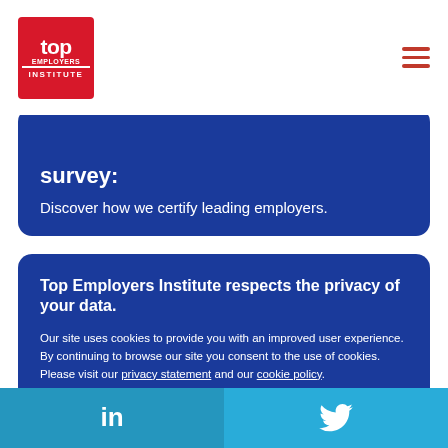Top Employers Institute logo and navigation menu
survey:
Discover how we certify leading employers.
Top Employers Institute respects the privacy of your data.
Our site uses cookies to provide you with an improved user experience. By continuing to browse our site you consent to the use of cookies. Please visit our privacy statement and our cookie policy.
I understand
LinkedIn and Twitter social media links